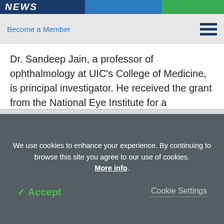NEWS
Become a Member
Dr. Sandeep Jain, a professor of ophthalmology at UIC's College of Medicine, is principal investigator. He received the grant from the National Eye Institute for a "Translational Research Program to Develop Novel Therapies and Devices for the Treatment of Visual System Disorders."
We use cookies to enhance your experience. By continuing to browse this site you agree to our use of cookies. More info.
✓ Accept
Cookie Settings